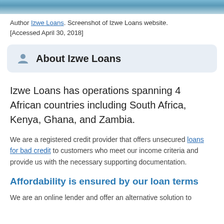[Figure (photo): Top portion of a screenshot of the Izwe Loans website, showing a sky/outdoor background image.]
Author Izwe Loans. Screenshot of Izwe Loans website. [Accessed April 30, 2018]
About Izwe Loans
Izwe Loans has operations spanning 4 African countries including South Africa, Kenya, Ghana, and Zambia.
We are a registered credit provider that offers unsecured loans for bad credit to customers who meet our income criteria and provide us with the necessary supporting documentation.
Affordability is ensured by our loan terms
We are an online lender and offer an alternative solution to